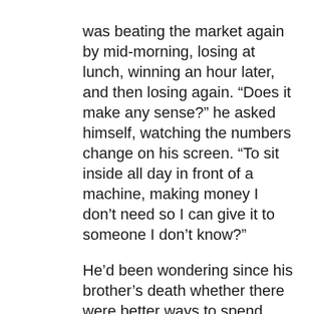was beating the market again by mid-morning, losing at lunch, winning an hour later, and then losing again. “Does it make any sense?” he asked himself, watching the numbers change on his screen. “To sit inside all day in front of a machine, making money I don’t need so I can give it to someone I don’t know?” He’d been wondering since his brother’s death whether there were better ways to spend some of his time, so one afternoon before the stock market closed, he shut off his computer and drove a few miles outside the gates of St. Andrews to visit Florida Atlantic University. The school’s president had invited Cooperman to speak to a group of low-income college students about his career and his values. “Believe it or not, I have a great deal of commonality with all of you,” Cooperman said as he stood at the lectern and looked out at the crowd of